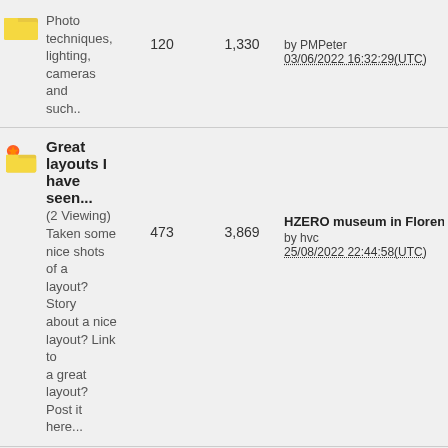Photo techniques, lighting, cameras and such.. | 120 | 1,330 | by PMPeter 03/06/2022 16:32:29(UTC)
Great layouts I have seen... (2 Viewing) Taken some nice shots of a layout? Story about a nice layout? Link to a great layout? Post it here... | 473 | 3,869 | HZERO museum in Florenc by hvc 25/08/2022 22:44:58(UTC)
News from Märklin and others (5 Viewing) Latest official news from Märklin and other model railroad stuff manufacturers | 1,474 | 34,741 | Märklin 2022 New Items? by bph Yesterday at 14:34:39(UTC)